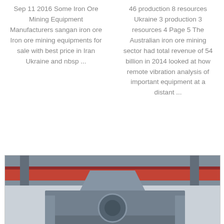Sep 11 2016 Some Iron Ore Mining Equipment Manufacturers sangan iron ore Iron ore mining equipments for sale with best price in Iran Ukraine and nbsp ...
46 production 8 resources Ukraine 3 production 3 resources 4 Page 5 The Australian iron ore mining sector had total revenue of 54 billion in 2014 looked at how remote vibration analysis of important equipment at a distant ...
[Figure (photo): Industrial iron ore mining equipment/machine in a factory or warehouse setting with red overhead crane beam visible]
Iron Ore Mining Stock Images Royalty Free Images Amp Vectors
See a rich collection of stock images vectors or photos for iron